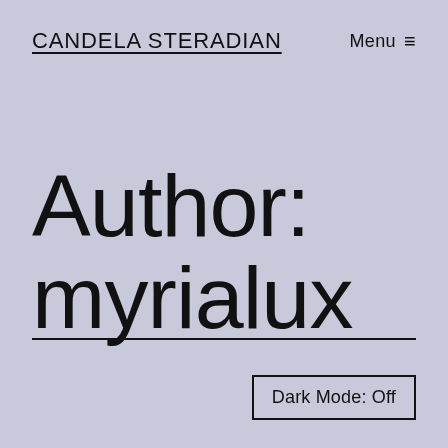CANDELA STERADIAN
Menu ≡
Author: myrialux
Dark Mode: Off